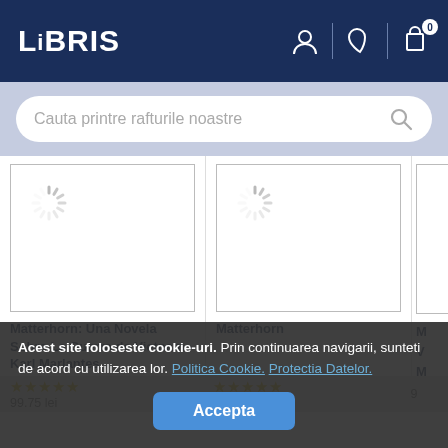LIBRIS — navigation header with logo and icons
Cauta printre rafturile noastre
[Figure (screenshot): Product card: loading spinner above book placeholder image for Matterhorn: Una Novela Sobre La Guerra de Vietnam - Karl Marlantes]
Matterhorn: Una Novela Sobre La Guerra de Vietnam - Karl Marlantes
[Figure (screenshot): Product card: loading spinner above book placeholder image for Matterhorn]
Matterhorn
M V M (partial third card title, truncated)
★★★★★  99.75 lei
★★★★★  67.86 lei
9 (partial price)
Acest site foloseste cookie-uri. Prin continuarea navigarii, sunteti de acord cu utilizarea lor. Politica Cookie. Protectia Datelor.
Accepta